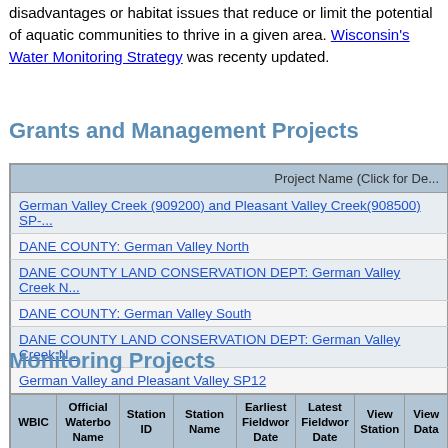disadvantages or habitat issues that reduce or limit the potential of aquatic communities to thrive in a given area. Wisconsin's Water Monitoring Strategy was recenty updated.
Grants and Management Projects
| Project Name (Click for Details) |
| --- |
| German Valley Creek (909200) and Pleasant Valley Creek(908500) SP-... |
| DANE COUNTY: German Valley North |
| DANE COUNTY LAND CONSERVATION DEPT: German Valley Creek N... |
| DANE COUNTY: German Valley South |
| DANE COUNTY LAND CONSERVATION DEPT: German Valley Creek N... |
| German Valley and Pleasant Valley SP12 |
| Fish Propagation Actions |
| BLUE MOUNDS PROJECT, INC.: Military Ridge Headwaters Protection... |
Monitoring Projects
| WBIC | Official Waterbo Name | Station ID | Station Name | Earliest Fieldwork Date | Latest Fieldwork Date | View Station | View Data |
| --- | --- | --- | --- | --- | --- | --- | --- |
|  |  |  | German... |  |  |  |  |